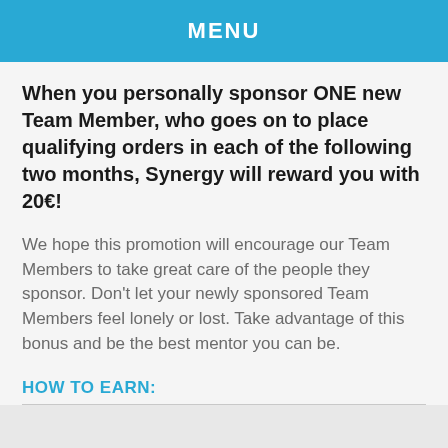MENU
When you personally sponsor ONE new Team Member, who goes on to place qualifying orders in each of the following two months, Synergy will reward you with 20€!
We hope this promotion will encourage our Team Members to take great care of the people they sponsor. Don't let your newly sponsored Team Members feel lonely or lost. Take advantage of this bonus and be the best mentor you can be.
HOW TO EARN: